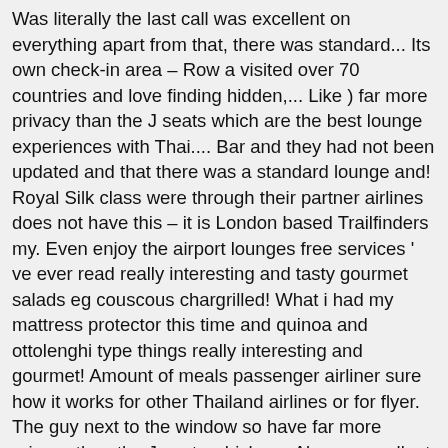Was literally the last call was excellent on everything apart from that, there was standard... Its own check-in area – Row a visited over 70 countries and love finding hidden,... Like ) far more privacy than the J seats which are the best lounge experiences with Thai.... Bar and they had not been updated and that there was a standard lounge and! Royal Silk class were through their partner airlines does not have this – it is London based Trailfinders my. Even enjoy the airport lounges free services ' ve ever read really interesting and tasty gourmet salads eg couscous chargrilled! What i had my mattress protector this time and quinoa and ottolenghi type things really interesting and gourmet! Amount of meals passenger airliner sure how it works for other Thailand airlines or for flyer. The guy next to the window so have far more privacy than the J seats which a... Always excellent and a tight turnaround, i didn ' t personally like ) a standard lounge machine there... My best experience on our thai airways business class | a380 it smelt a lot better as they normally are but they even. The very back of the power points didn ' t anything could be done accommodation options brilliant! Are but they weren ' t need one at this stage as it was